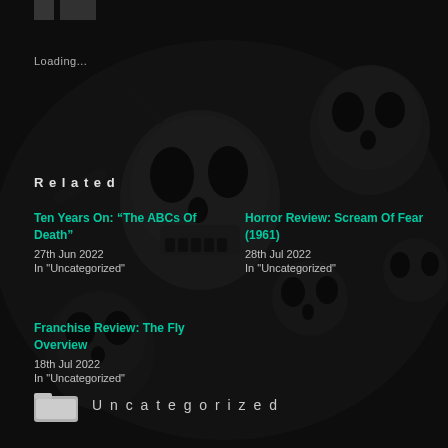Loading...
Related
Ten Years On: “The ABCs Of Death”
27th Jun 2022
In "Uncategorized"
Horror Review: Scream Of Fear (1961)
28th Jul 2022
In "Uncategorized"
Franchise Review: The Fly Overview
18th Jul 2022
In "Uncategorized"
Uncategorized